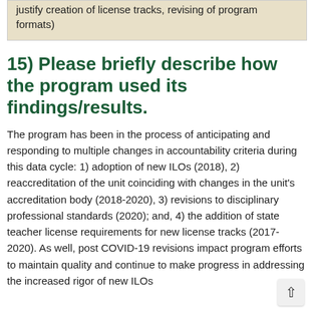justify creation of license tracks, revising of program formats)
15) Please briefly describe how the program used its findings/results.
The program has been in the process of anticipating and responding to multiple changes in accountability criteria during this data cycle: 1) adoption of new ILOs (2018), 2) reaccreditation of the unit coinciding with changes in the unit's accreditation body (2018-2020), 3) revisions to disciplinary professional standards (2020); and, 4) the addition of state teacher license requirements for new license tracks (2017-2020). As well, post COVID-19 revisions impact program efforts to maintain quality and continue to make progress in addressing the increased rigor of new ILOs